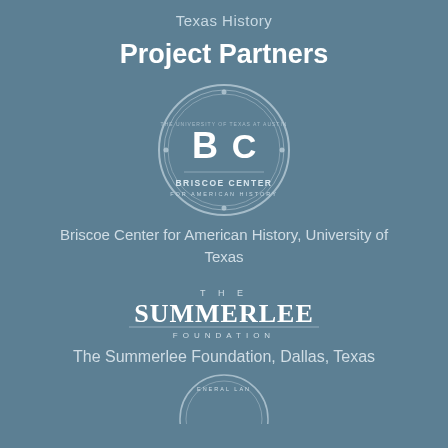Texas History
Project Partners
[Figure (logo): Briscoe Center for American History circular logo with stylized B and C letters, University of Texas]
Briscoe Center for American History, University of Texas
[Figure (logo): The Summerlee Foundation wordmark logo with serif text]
The Summerlee Foundation, Dallas, Texas
[Figure (logo): General Land Office circular seal logo, partially visible at bottom]